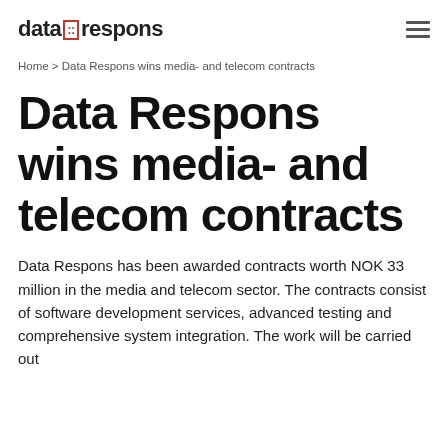data respons | hamburger menu
Home > Data Respons wins media- and telecom contracts
Data Respons wins media- and telecom contracts
Data Respons has been awarded contracts worth NOK 33 million in the media and telecom sector. The contracts consist of software development services, advanced testing and comprehensive system integration. The work will be carried out